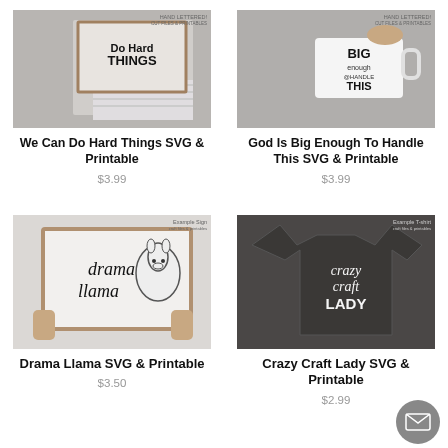[Figure (photo): Person holding a framed sign with 'We Can Do Hard Things' hand lettered text, with SVG/DXF/PDF/PNG/JPG format icons]
We Can Do Hard Things SVG & Printable
$3.99
[Figure (photo): Person holding a mug with 'God Is Big Enough To Handle This' hand lettered text, with SVG/DXF/PDF/PNG/JPG format icons]
God Is Big Enough To Handle This SVG & Printable
$3.99
[Figure (photo): Person holding a framed sign with 'drama llama' hand lettered text with llama illustration, with SVG/DXF/PDF/PNG/JPG icons]
Drama Llama SVG & Printable
$3.50
[Figure (photo): Person wearing dark t-shirt with 'crazy craft lady' hand lettered text, with SVG/DXF/PDF/PNG/JPG icons]
Crazy Craft Lady SVG & Printable
$2.99